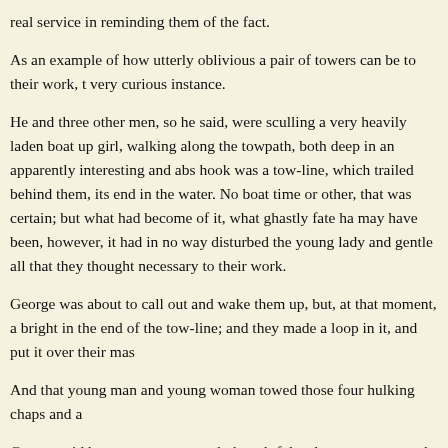real service in reminding them of the fact.
As an example of how utterly oblivious a pair of towers can be to their work, very curious instance.
He and three other men, so he said, were sculling a very heavily laden boat up girl, walking along the towpath, both deep in an apparently interesting and abs hook was a tow-line, which trailed behind them, its end in the water. No boat time or other, that was certain; but what had become of it, what ghastly fate ha may have been, however, it had in no way disturbed the young lady and gentle all that they thought necessary to their work.
George was about to call out and wake them up, but, at that moment, a bright in the end of the tow-line; and they made a loop in it, and put it over their mas
And that young man and young woman towed those four hulking chaps and a
George said he never saw so much thoughtful sadness concentrated into one g miles, they had been towing the wrong boat. George fancied that, if it had not given way to violent language.
The maiden was the first to recover from her surprise, and, when she did, she
"Oh, Henry, then WHERE is auntie?"
"Did they ever recover the old lady?" asked Harris.
George replied he did not know.